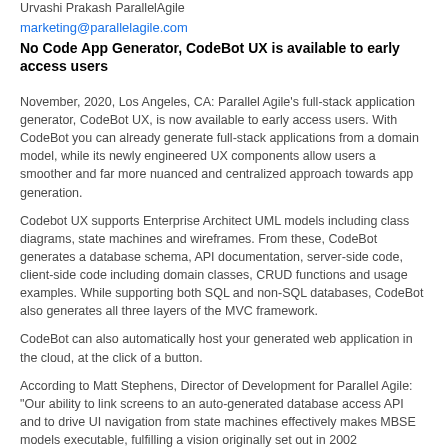Urvashi Prakash ParallelAgile
marketing@parallelagile.com
No Code App Generator, CodeBot UX is available to early access users
November, 2020, Los Angeles, CA: Parallel Agile's full-stack application generator, CodeBot UX, is now available to early access users. With CodeBot you can already generate full-stack applications from a domain model, while its newly engineered UX components allow users a smoother and far more nuanced and centralized approach towards app generation.
Codebot UX supports Enterprise Architect UML models including class diagrams, state machines and wireframes. From these, CodeBot generates a database schema, API documentation, server-side code, client-side code including domain classes, CRUD functions and usage examples. While supporting both SQL and non-SQL databases, CodeBot also generates all three layers of the MVC framework.
CodeBot can also automatically host your generated web application in the cloud, at the click of a button.
According to Matt Stephens, Director of Development for Parallel Agile: "Our ability to link screens to an auto-generated database access API and to drive UI navigation from state machines effectively makes MBSE models executable, fulfilling a vision originally set out in 2002